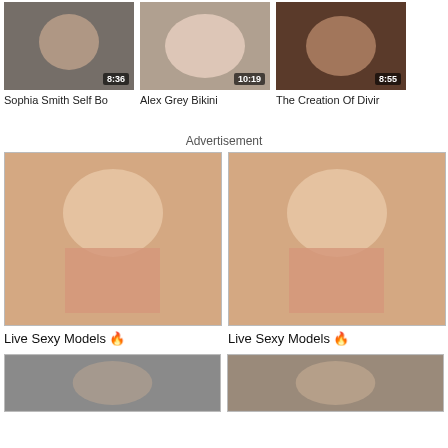[Figure (screenshot): Video thumbnail: Sophia Smith Self Bo, duration 8:36]
Sophia Smith Self Bo
[Figure (screenshot): Video thumbnail: Alex Grey Bikini, duration 10:19]
Alex Grey Bikini
[Figure (screenshot): Video thumbnail: The Creation Of Divir, duration 8:55]
The Creation Of Divir
Advertisement
[Figure (photo): Advertisement image: Live Sexy Models]
Live Sexy Models 🔥
[Figure (photo): Advertisement image: Live Sexy Models]
Live Sexy Models 🔥
[Figure (photo): Bottom left thumbnail]
[Figure (photo): Bottom right thumbnail]